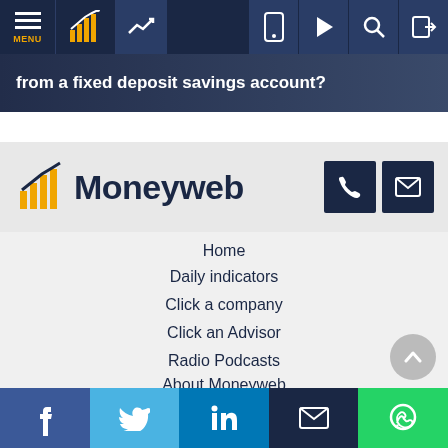[Figure (screenshot): Top navigation bar with hamburger menu, charts icon, trend icon, mobile icon, play button, search icon, and login icon on dark navy background]
from a fixed deposit savings account?
[Figure (logo): Moneyweb logo with bar chart icon in yellow/gold on grey background, with phone and email contact buttons on right]
Home
Daily indicators
Click a company
Click an Advisor
Radio Podcasts
About Moneyweb
Advertise with us
Facebook | Twitter | LinkedIn | Email | WhatsApp social share bar